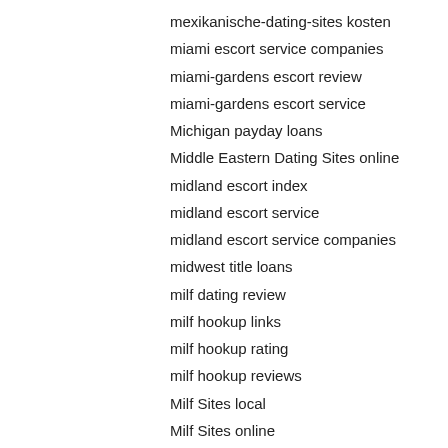mexikanische-dating-sites kosten
miami escort service companies
miami-gardens escort review
miami-gardens escort service
Michigan payday loans
Middle Eastern Dating Sites online
midland escort index
midland escort service
midland escort service companies
midwest title loans
milf dating review
milf hookup links
milf hookup rating
milf hookup reviews
Milf Sites local
Milf Sites online
Milf Sites review
Milfaholic asian rencontre